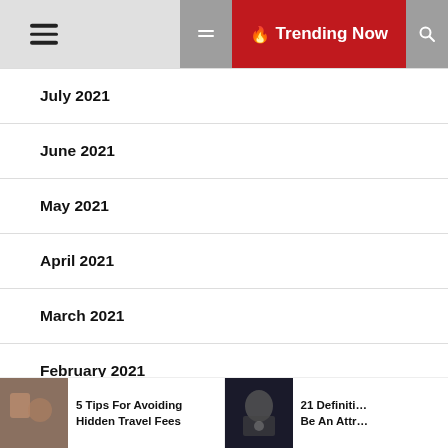☰  🔥 Trending Now
July 2021
June 2021
May 2021
April 2021
March 2021
February 2021
January 2021
5 Tips For Avoiding Hidden Travel Fees
21 Definiti... Be An Attr...